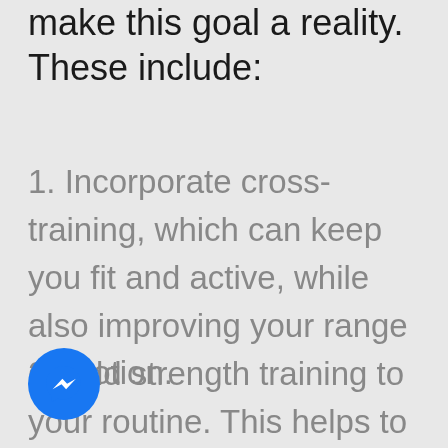make this goal a reality. These include:
1. Incorporate cross-training, which can keep you fit and active, while also improving your range of motion.
2. Add strength training to your routine. This helps to maintain muscle...
[Figure (logo): Facebook Messenger icon button, blue circle with white lightning bolt/chat icon]